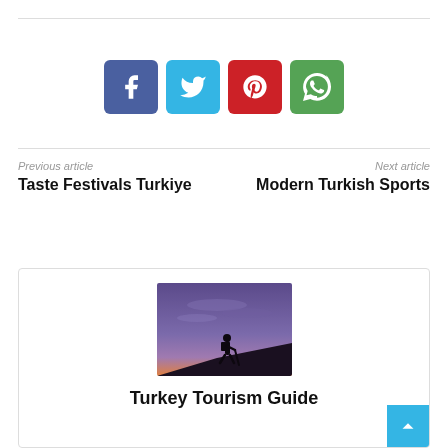[Figure (infographic): Social sharing buttons: Facebook (blue-purple), Twitter (light blue), Pinterest (red), WhatsApp (green)]
Previous article
Taste Festivals Turkiye
Next article
Modern Turkish Sports
[Figure (photo): Silhouette of a hiker on a hilltop at sunset/dusk with purple and orange sky]
Turkey Tourism Guide